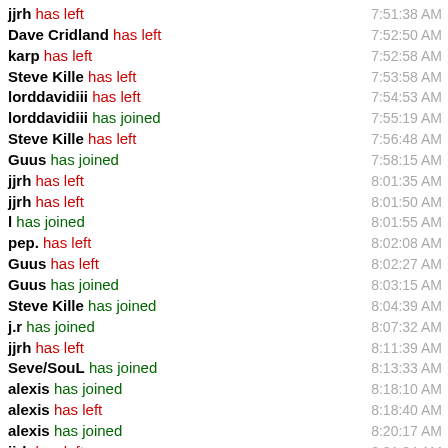jjrh has left 7:51:38 AM
Dave Cridland has left 7:52:50 AM
karp has left 7:52:58 AM
Steve Kille has left 7:53:58 AM
lorddavidiii has left 7:54:53 AM
lorddavidiii has joined 7:55:19 AM
Steve Kille has left 7:56:48 AM
Guus has joined 7:58:15 AM
jjrh has left 8:01:35 AM
jjrh has left 8:01:50 AM
l has joined 8:01:55 AM
pep. has left 8:02:08 AM
Guus has left 8:02:27 AM
Guus has joined 8:03:15 AM
Steve Kille has joined 8:04:39 AM
j.r has joined 8:07:32 AM
jjrh has left 8:11:39 AM
Seve/SouL has joined 8:13:33 AM
alexis has joined 8:18:10 AM
alexis has left 8:18:40 AM
alexis has joined 8:20:17 AM
jjrh has left 8:21:34 AM
jjrh has left 8:22:14 AM
alexis has left 8:23:06 AM
alexis has joined 8:26:34 AM